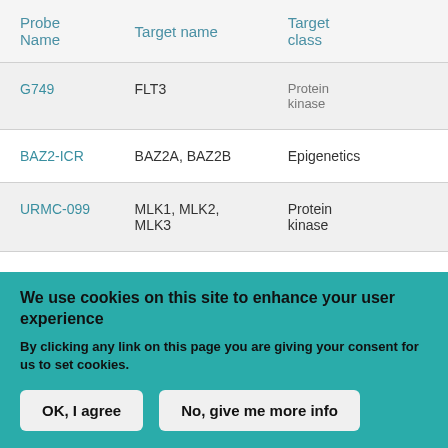| Probe Name | Target name | Target class |
| --- | --- | --- |
| G749 | FLT3 | Protein kinase |
| BAZ2-ICR | BAZ2A, BAZ2B | Epigenetics |
| URMC-099 | MLK1, MLK2, MLK3 | Protein kinase |
| GSK591 | PRMT5 | Epigenetics |
We use cookies on this site to enhance your user experience
By clicking any link on this page you are giving your consent for us to set cookies.